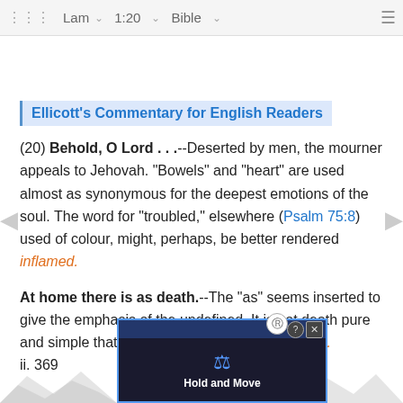⠿ Lam ∨  1:20 ∨  Bible ∨  ≡
Ellicott's Commentary for English Readers
(20) Behold, O Lord . . .--Deserted by men, the mourner appeals to Jehovah. "Bowels" and "heart" are used almost as synonymous for the deepest emotions of the soul. The word for "troubled," elsewhere (Psalm 75:8) used of colour, might, perhaps, be better rendered inflamed.
At home there is as death.--The "as" seems inserted to give the emphasis of the undefined. It is not death pure and simple that makes each home tremble ii. 369 en. ich